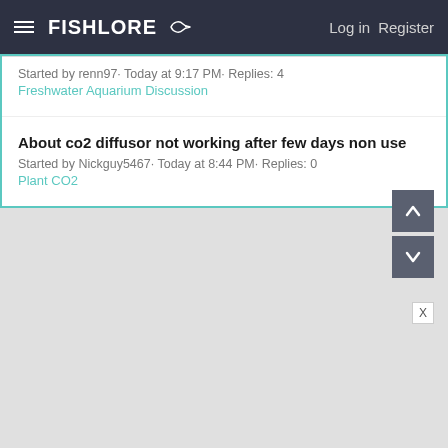FishLore | Log in | Register
Started by renn97· Today at 9:17 PM· Replies: 4
Freshwater Aquarium Discussion
About co2 diffusor not working after few days non use
Started by Nickguy5467· Today at 8:44 PM· Replies: 0
Plant CO2